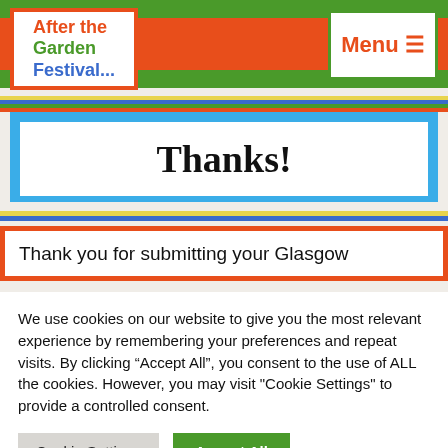After the Garden Festival...
Thanks!
Thank you for submitting your Glasgow
We use cookies on our website to give you the most relevant experience by remembering your preferences and repeat visits. By clicking “Accept All”, you consent to the use of ALL the cookies. However, you may visit "Cookie Settings" to provide a controlled consent.
Cookie Settings
Accept All